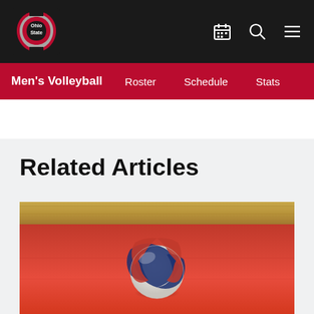Ohio State Men's Volleyball - Related Articles
Men's Volleyball
Roster   Schedule   Stats
Related Articles
[Figure (photo): A volleyball resting on a red gymnasium court floor with wooden sideline border visible in background]